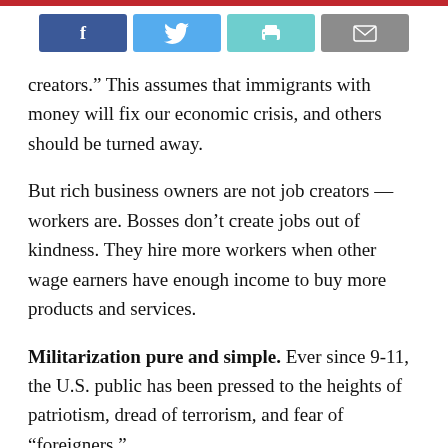[Figure (other): Social media sharing buttons: Facebook (blue), Twitter (light blue), Print (teal), Email (gray)]
creators.” This assumes that immigrants with money will fix our economic crisis, and others should be turned away.
But rich business owners are not job creators — workers are. Bosses don’t create jobs out of kindness. They hire more workers when other wage earners have enough income to buy more products and services.
Militarization pure and simple. Ever since 9-11, the U.S. public has been pressed to the heights of patriotism, dread of terrorism, and fear of “foreigners.”